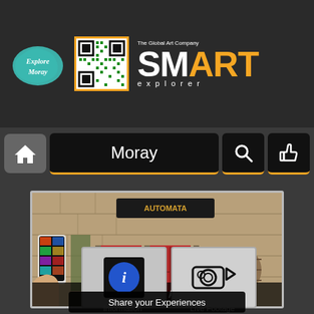[Figure (screenshot): Explore Moray logo - teal map shape with cursive text 'Explore Moray']
[Figure (other): QR code with green and black squares on white background with orange border]
[Figure (logo): SMARTExplorer logo: 'The Global Art Company' tagline above, 'SM' in white, 'ART' in orange, 't' in white, 'explorer' in white spaced letters below]
[Figure (screenshot): Navigation bar with home icon, Moray label, search icon, and thumbs up icon on dark background with orange underline accents]
[Figure (photo): The House of Automata - stone building storefront with Automata sign, red door and windows, hand holding smartphone in foreground]
The House of Automata
[Figure (screenshot): Information button - blue circle with lowercase i on black background]
Information
[Figure (screenshot): Video camera icon on white/gray background]
Live Footage
Share your Experiences